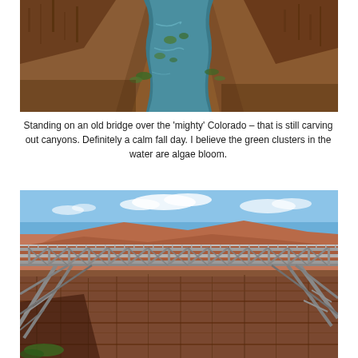[Figure (photo): Aerial view looking down into a canyon with a winding blue-green river (Colorado River) carved between steep reddish-brown rock walls, with some green vegetation visible along the water's edge.]
Standing on an old bridge over the 'mighty' Colorado – that is still carving out canyons. Definitely a calm fall day. I believe the green clusters in the water are algae bloom.
[Figure (photo): A large steel truss bridge (Navajo Bridge) spanning a deep canyon with reddish rock walls below, blue sky with white clouds above, and layered mesa formations visible in the background.]